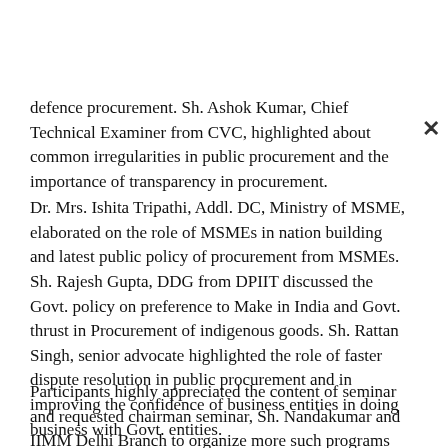defence procurement. Sh. Ashok Kumar, Chief Technical Examiner from CVC, highlighted about common irregularities in public procurement and the importance of transparency in procurement.
Dr. Mrs. Ishita Tripathi, Addl. DC, Ministry of MSME, elaborated on the role of MSMEs in nation building and latest public policy of procurement from MSMEs. Sh. Rajesh Gupta, DDG from DPIIT discussed the Govt. policy on preference to Make in India and Govt. thrust in Procurement of indigenous goods. Sh. Rattan Singh, senior advocate highlighted the role of faster dispute resolution in public procurement and in improving the confidence of business entities in doing business with Govt. entities.
Participants highly appreciated the content of seminar and requested chairman seminar, Sh. Nandakumar and IIMM Delhi Branch to organize more such programs on Public Procurement